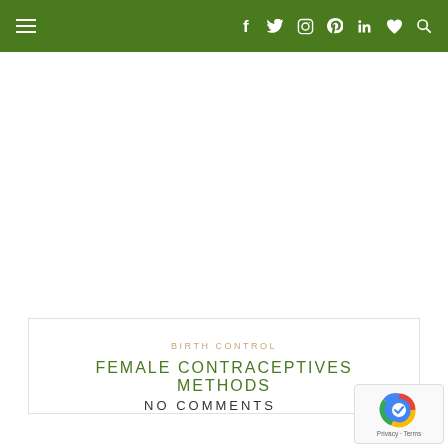Navigation bar with hamburger menu and social icons (Facebook, Twitter, Instagram, Pinterest, LinkedIn, Heart, Search)
BIRTH CONTROL
FEMALE CONTRACEPTIVES METHODS
NO COMMENTS